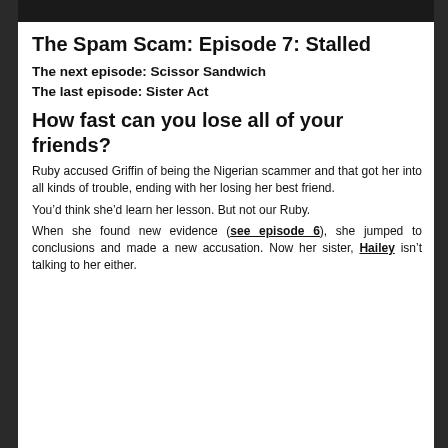[Figure (screenshot): Dark top bar of a webpage or app interface]
The Spam Scam: Episode 7: Stalled
The next episode: Scissor Sandwich
The last episode: Sister Act
How fast can you lose all of your friends?
Ruby accused Griffin of being the Nigerian scammer and that got her into all kinds of trouble, ending with her losing her best friend.
You’d think she’d learn her lesson. But not our Ruby.
When she found new evidence (see episode 6), she jumped to conclusions and made a new accusation. Now her sister, Hailey isn’t talking to her either.